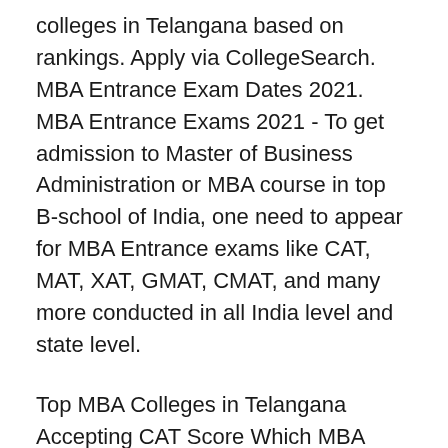colleges in Telangana based on rankings. Apply via CollegeSearch. MBA Entrance Exam Dates 2021. MBA Entrance Exams 2021 - To get admission to Master of Business Administration or MBA course in top B-school of India, one need to appear for MBA Entrance exams like CAT, MAT, XAT, GMAT, CMAT, and many more conducted in all India level and state level.
Top MBA Colleges in Telangana Accepting CAT Score Which MBA exams are most popular in Telangana? The most popular MBA exams in Telangana are TSICET, CAT, MAT, XAT, CMAT, ATMA, GMAT, ICET, NMAT and GATE. A student can pursue both masters and postgraduate diploma concerning business studies. State Level MBA Entrance Exams. Name of State Level MBA